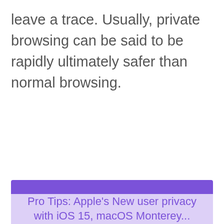leave a trace. Usually, private browsing can be said to be rapidly ultimately safer than normal browsing.
Pro Tips: Apple's New user privacy with iOS 15, macOS Monterey...